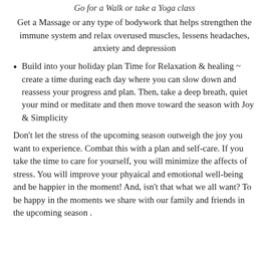Go for a Walk or take a Yoga class
Get a Massage or any type of bodywork that helps strengthen the immune system and relax overused muscles, lessens headaches, anxiety and depression
Build into your holiday plan Time for Relaxation & healing ~ create a time during each day where you can slow down and reassess your progress and plan. Then, take a deep breath, quiet your mind or meditate and then move toward the season with Joy & Simplicity
Don’t let the stress of the upcoming season outweigh the joy you want to experience. Combat this with a plan and self-care. If you take the time to care for yourself, you will minimize the affects of stress. You will improve your phyaical and emotional well-being and be happier in the moment! And, isn’t that what we all want? To be happy in the moments we share with our family and friends in the upcoming season .